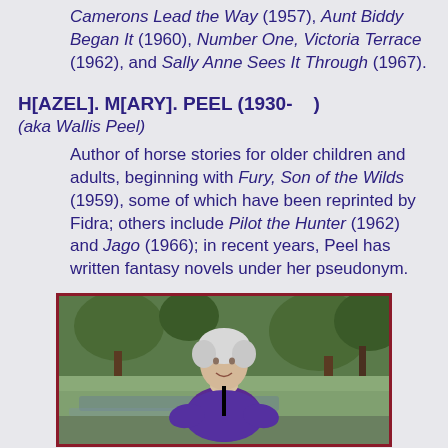Camerons Lead the Way (1957), Aunt Biddy Began It (1960), Number One, Victoria Terrace (1962), and Sally Anne Sees It Through (1967).
H[AZEL]. M[ARY]. PEEL (1930-    )
(aka Wallis Peel)
Author of horse stories for older children and adults, beginning with Fury, Son of the Wilds (1959), some of which have been reprinted by Fidra; others include Pilot the Hunter (1962) and Jago (1966); in recent years, Peel has written fantasy novels under her pseudonym.
[Figure (photo): Photograph of an elderly woman with white/grey hair, smiling, wearing a purple jacket, standing outdoors near trees and water.]